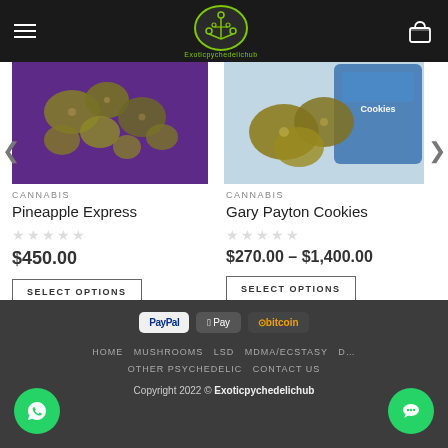[Figure (screenshot): Website header with hamburger menu, Exoticpychedelichub logo (green circuit tree icon), and cart icon on dark background]
[Figure (photo): Cannabis buds (Pineapple Express) on purple background]
CANNABIS
Pineapple Express
$450.00
SELECT OPTIONS
[Figure (photo): Gary Payton Cookies cannabis buds in front of blue packaging]
CANNABIS
Gary Payton Cookies
$270.00 – $1,400.00
SELECT OPTIONS
PayPal  Apple Pay  bitcoin
HOME  MUSHROOMS  LSD  MDMA/ECSTASY  OTHER PSYCHEDELIC  CONTACT US
Copyright 2022 © Exoticpychedelichub